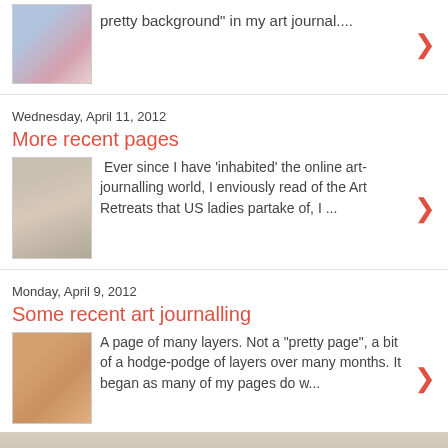pretty background" in my art journal....
Wednesday, April 11, 2012
More recent pages
Ever since I have 'inhabited' the online art-journalling world, I enviously read of the Art Retreats that US ladies partake of, I ...
Monday, April 9, 2012
Some recent art journalling
A page of many layers. Not a "pretty page", a bit of a hodge-podge of layers over many months. It began as many of my pages do w...